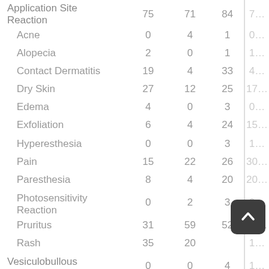| Adverse Event | Col1 | Col2 | Col3 | Col4(partial) |
| --- | --- | --- | --- | --- |
| Application Site Reaction | 75 | 71 | 84 | 7… |
| Acne | 0 | 4 | 1 | 0… |
| Alopecia | 2 | 0 | 1 | 1… |
| Contact Dermatitis | 19 | 4 | 33 | 4… |
| Dry Skin | 27 | 12 | 25 | 17… |
| Edema | 4 | 0 | 3 | 0… |
| Exfoliation | 6 | 4 | 24 | 15… |
| Hyperesthesia | 0 | 0 | 3 | 1… |
| Pain | 15 | 22 | 26 | 30… |
| Paresthesia | 8 | 4 | 20 | 20… |
| Photosensitivity Reaction | 0 | 2 | 3 | 0… |
| Pruritus | 31 | 59 | 52 | 45… |
| Rash | 35 | 20 | [obscured] | 1… |
| Vesiculobullous Rash | 0 | 0 | 4 | 1… |